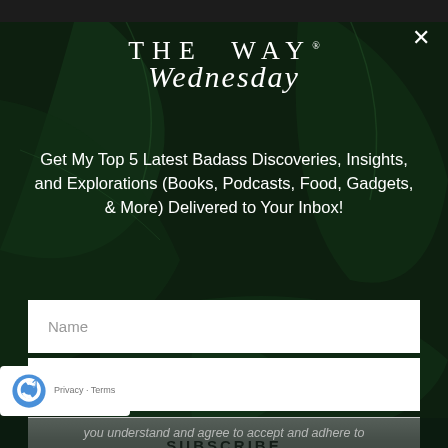[Figure (logo): THE WAY Wednesday newsletter logo in white serif/script font on dark tropical background]
Get My Top 5 Latest Badass Discoveries, Insights, and Explorations (Books, Podcasts, Food, Gadgets, & More) Delivered to Your Inbox!
Name
Email
SUBSCRIBE
[Figure (logo): reCAPTCHA logo with Privacy · Terms text]
you understand and agree to accept and adhere to